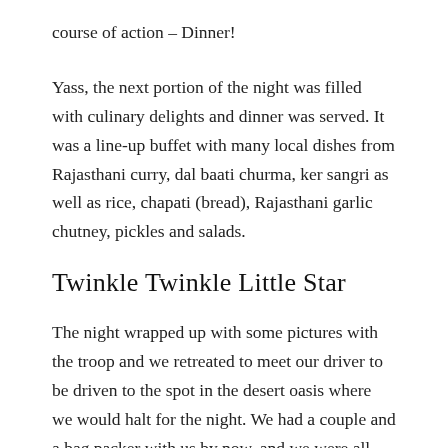course of action – Dinner!
Yass, the next portion of the night was filled with culinary delights and dinner was served. It was a line-up buffet with many local dishes from Rajasthani curry, dal baati churma, ker sangri as well as rice, chapati (bread), Rajasthani garlic chutney, pickles and salads.
Twinkle Twinkle Little Star
The night wrapped up with some pictures with the troop and we retreated to meet our driver to be driven to the spot in the desert oasis where we would halt for the night. We had a couple and a bag packer with us by now, and we were all looking forward to spend